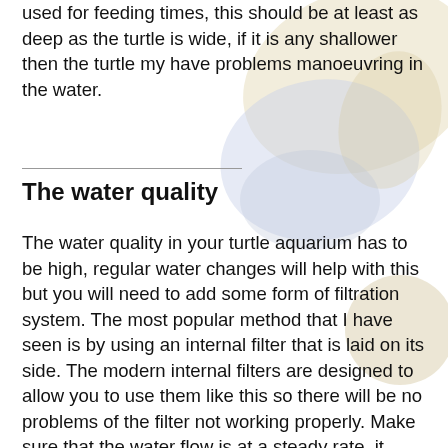used for feeding times, this should be at least as deep as the turtle is wide, if it is any shallower then the turtle my have problems manoeuvring in the water.
The water quality
The water quality in your turtle aquarium has to be high, regular water changes will help with this but you will need to add some form of filtration system. The most popular method that I have seen is by using an internal filter that is laid on its side. The modern internal filters are designed to allow you to use them like this so there will be no problems of the filter not working properly. Make sure that the water flow is at a steady rate, it does not need to be swirling around the aquarium. Keeping the deep end bare bottomed will also help as cleaning uneaten food out of the aquarium will be much easier, if you do require some décor at the deep end, add a few